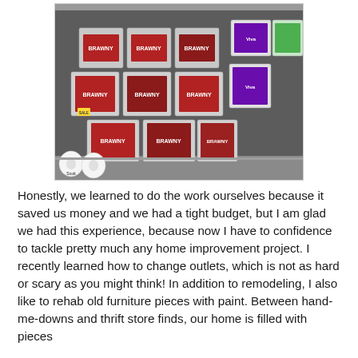[Figure (photo): Photo of a store shelf stacked with packages of Brawny and Viva paper towels in a warehouse-style store, with some Scott toilet paper rolls on the floor in front.]
Honestly, we learned to do the work ourselves because it saved us money and we had a tight budget, but I am glad we had this experience, because now I have to confidence to tackle pretty much any home improvement project. I recently learned how to change outlets, which is not as hard or scary as you might think! In addition to remodeling, I also like to rehab old furniture pieces with paint. Between hand-me-downs and thrift store finds, our home is filled with pieces that I have painted, distressed, or transformed.